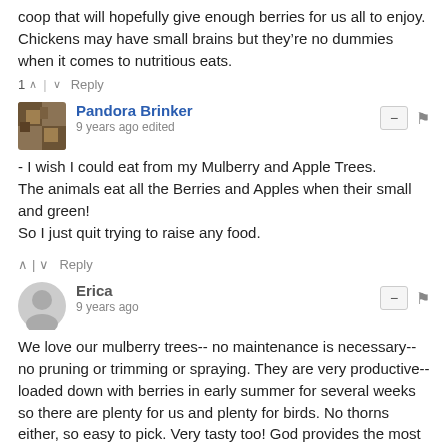coop that will hopefully give enough berries for us all to enjoy. Chickens may have small brains but they're no dummies when it comes to nutritious eats.
1 ∧ | ∨   Reply
Pandora Brinker
9 years ago edited
- I wish I could eat from my Mulberry and Apple Trees.
The animals eat all the Berries and Apples when their small and green!
So I just quit trying to raise any food.
∧ | ∨   Reply
Erica
9 years ago
We love our mulberry trees-- no maintenance is necessary--no pruning or trimming or spraying. They are very productive--loaded down with berries in early summer for several weeks so there are plenty for us and plenty for birds. No thorns either, so easy to pick. Very tasty too! God provides the most wonderful treats for us! :)